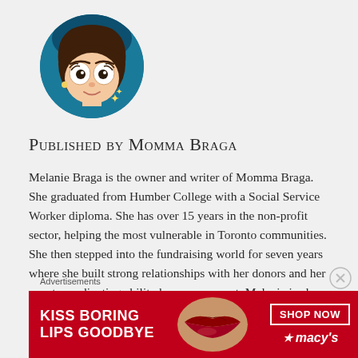[Figure (illustration): Circular avatar illustration of a cartoon woman with brown hair, large eyes, and a teal/blue background]
Published by Momma Braga
Melanie Braga is the owner and writer of Momma Braga. She graduated from Humber College with a Social Service Worker diploma. She has over 15 years in the non-profit sector, helping the most vulnerable in Toronto communities. She then stepped into the fundraising world for seven years where she built strong relationships with her donors and her event coordinating ability became an asset. Melanie is also a mother of one and started a blog called Momma Braga
Advertisements
[Figure (advertisement): Macy's lip product advertisement with text 'KISS BORING LIPS GOODBYE' and 'SHOP NOW' button with Macy's star logo on red background]